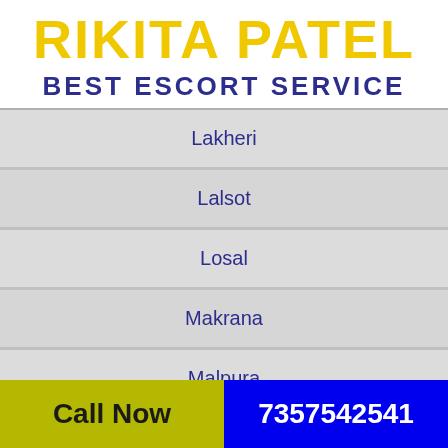RIKITA PATEL BEST ESCORT SERVICE
Lakheri
Lalsot
Losal
Makrana
Malpura
Mandalgarh
Call Now  7357542541